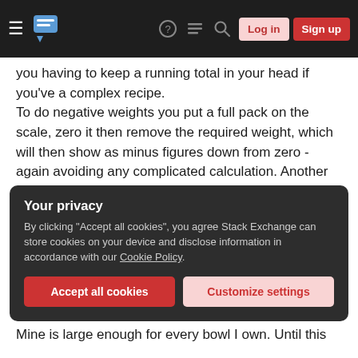Stack Exchange navigation bar with hamburger menu, logo, icons, Log in and Sign up buttons
you having to keep a running total in your head if you've a complex recipe.
To do negative weights you put a full pack on the scale, zero it then remove the required weight, which will then show as minus figures down from zero - again avoiding any complicated calculation. Another very neat trick with the tare function is you can weigh 50g flour, then add 'an egg' re-tare & add 140ml water or even 'half a pint', just by swapping units after you press tare. It makes the whole structure very flexible.
Your privacy
By clicking "Accept all cookies", you agree Stack Exchange can store cookies on your device and disclose information in accordance with our Cookie Policy.
Accept all cookies   Customize settings
Mine is large enough for every bowl I own. Until this